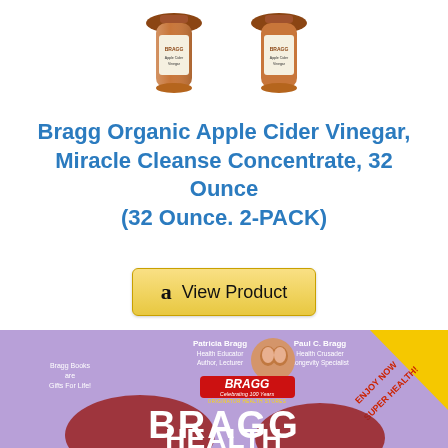[Figure (photo): Two brown glass bottles of Bragg Organic Apple Cider Vinegar photographed from above, side by side on white background]
Bragg Organic Apple Cider Vinegar, Miracle Cleanse Concentrate, 32 Ounce (32 Ounce. 2-PACK)
[Figure (screenshot): Amazon 'View Product' button with Amazon logo 'a' icon on golden yellow background]
[Figure (photo): Bragg Health book cover with purple background, showing Patricia Bragg and Paul C. Bragg, BRAGG logo with 'Celebrating 100 Years' banner, 'ENJOY NOW SUPER HEALTH!' yellow diagonal banner, 'Bragg Books are Gifts For Life!' text, and large BRAGG HEALTHY text at bottom]